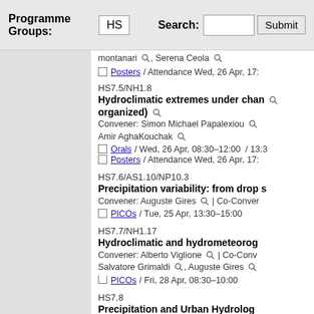Programme Groups: HS   Search:  Submit
montanari / serena ceola
Posters / Attendance Wed, 26 Apr, 17:...
HS7.5/NH1.8
Hydroclimatic extremes under chan... organized)
Convener: Simon Michael Papalexiou | Amir AghaKouchak
Orals / Wed, 26 Apr, 08:30–12:00 / 13:3...
Posters / Attendance Wed, 26 Apr, 17:...
HS7.6/AS1.10/NP10.3
Precipitation variability: from drop s...
Convener: Auguste Gires | Co-Conver...
PICOs / Tue, 25 Apr, 13:30–15:00
HS7.7/NH1.17
Hydroclimatic and hydrometeorology...
Convener: Alberto Viglione | Co-Conv... Salvatore Grimaldi, Auguste Gires
PICOs / Fri, 28 Apr, 08:30–10:00
HS7.8
Precipitation and Urban Hydrology...